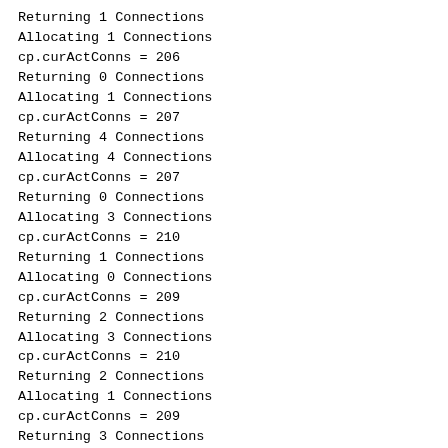Returning 1 Connections
Allocating 1 Connections
cp.curActConns = 206
Returning 0 Connections
Allocating 1 Connections
cp.curActConns = 207
Returning 4 Connections
Allocating 4 Connections
cp.curActConns = 207
Returning 0 Connections
Allocating 3 Connections
cp.curActConns = 210
Returning 1 Connections
Allocating 0 Connections
cp.curActConns = 209
Returning 2 Connections
Allocating 3 Connections
cp.curActConns = 210
Returning 2 Connections
Allocating 1 Connections
cp.curActConns = 209
Returning 3 Connections
Allocating 4 Connections
cp.curActConns = 210
Returning 2 Connections
Allocating 3 Connections
cp.curActConns = 211
Returning 2 Connections
Allocating 3 Connections
cp.curActConns = 212